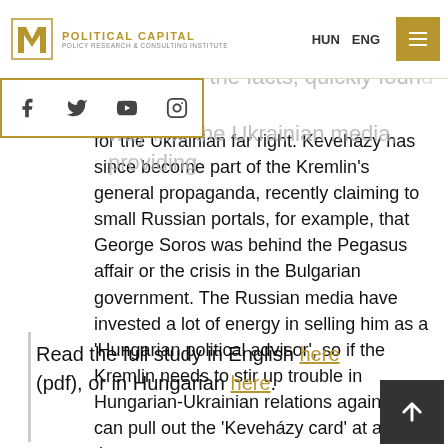Political Capital | HUN  ENG
Transcarpathia. These statements, which contradict the facts, quickly found their way into the Ukrainian media, providing ammunition for the Ukrainian far right. Keveházy has since become part of the Kremlin's general propaganda, recently claiming to small Russian portals, for example, that George Soros was behind the Pegasus affair or the crisis in the Bulgarian government. The Russian media have invested a lot of energy in selling him as a 'Hungarian political advisor', so if the Kremlin needs to stir up trouble in Hungarian-Ukrainian relations again, they can pull out the 'Keveházy card' at any time.
Read the full study in English here (pdf), or in Hungarian here.